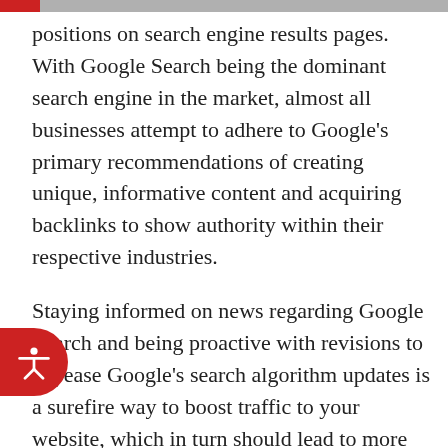positions on search engine results pages. With Google Search being the dominant search engine in the market, almost all businesses attempt to adhere to Google's primary recommendations of creating unique, informative content and acquiring backlinks to show authority within their respective industries.
Staying informed on news regarding Google Search and being proactive with revisions to appease Google's search algorithm updates is a surefire way to boost traffic to your website, which in turn should lead to more conversions and new clients.
However, have you ever wondered how Google